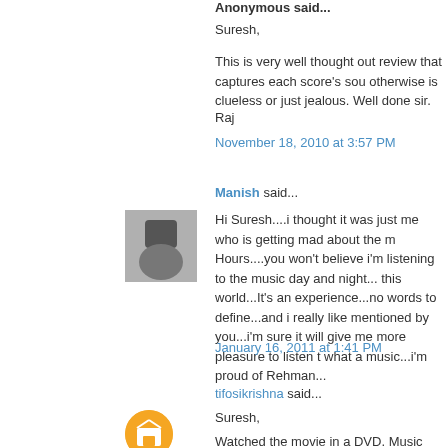Anonymous said...
Suresh,
This is very well thought out review that captures each score's sou otherwise is clueless or just jealous. Well done sir.
Raj
November 18, 2010 at 3:57 PM
Manish said...
Hi Suresh....i thought it was just me who is getting mad about the m Hours....you won't believe i'm listening to the music day and night... this world...It's an experience...no words to define...and i really like mentioned by you...i'm sure it will give me more pleasure to listen t what a music...i'm proud of Rehman...
January 16, 2011 at 1:41 PM
tifosikrishna said...
Suresh,
Watched the movie in a DVD. Music was awesome. Liberation/Lib improvised, not exactly the same as it was in OST. And it was supe placement of If I Rise too. Will you post your review after watching